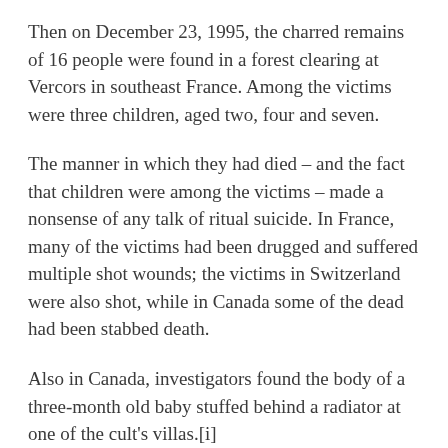Then on December 23, 1995, the charred remains of 16 people were found in a forest clearing at Vercors in southeast France. Among the victims were three children, aged two, four and seven.
The manner in which they had died – and the fact that children were among the victims – made a nonsense of any talk of ritual suicide. In France, many of the victims had been drugged and suffered multiple shot wounds; the victims in Switzerland were also shot, while in Canada some of the dead had been stabbed death.
Also in Canada, investigators found the body of a three-month old baby stuffed behind a radiator at one of the cult's villas.[i]
It was in this context that thinking hardened towards any fringe group applying totalitarian values to its members while operating within the relative freedom of an open